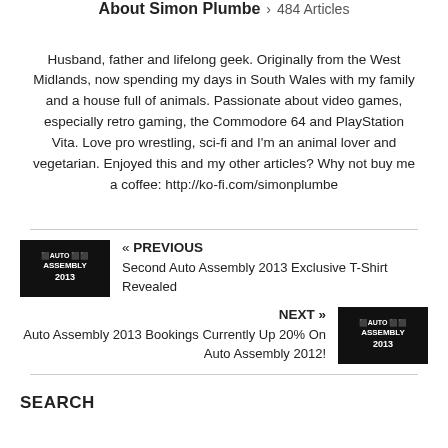About Simon Plumbe › 484 Articles
Husband, father and lifelong geek. Originally from the West Midlands, now spending my days in South Wales with my family and a house full of animals. Passionate about video games, especially retro gaming, the Commodore 64 and PlayStation Vita. Love pro wrestling, sci-fi and I'm an animal lover and vegetarian. Enjoyed this and my other articles? Why not buy me a coffee: http://ko-fi.com/simonplumbe
« PREVIOUS
Second Auto Assembly 2013 Exclusive T-Shirt Revealed
NEXT »
Auto Assembly 2013 Bookings Currently Up 20% On Auto Assembly 2012!
SEARCH